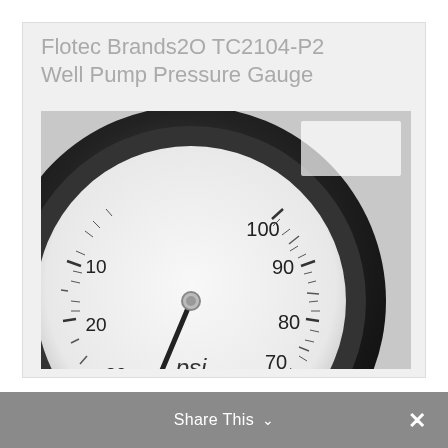[Figure (photo): Photo of a Flotec Brands2O TC2104-P2 Well Pump Pressure Gauge. The image shows a close-up of a circular pressure gauge with a black bezel and white dial face. The dial is marked with numbers 0, 10, 20, 30, 40, 50, 60, 70, 80, 90, 100 in PSI, with a needle pointing near 40 PSI. The label 'psi' appears at bottom center of the dial. Text at the top of the image card reads 'Flotec Brands2O TC2104-P2 Well Pump Pressure Gauge' in light gray.]
Share This ∨  ✕